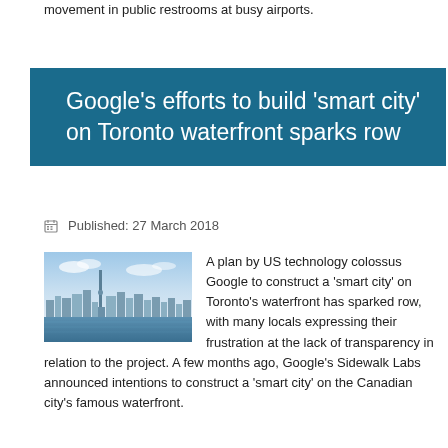movement in public restrooms at busy airports.
Google's efforts to build 'smart city' on Toronto waterfront sparks row
Published: 27 March 2018
[Figure (photo): Photo of Toronto skyline viewed from the water, showing the CN Tower and downtown buildings under a blue sky]
A plan by US technology colossus Google to construct a 'smart city' on Toronto's waterfront has sparked row, with many locals expressing their frustration at the lack of transparency in relation to the project. A few months ago, Google's Sidewalk Labs announced intentions to construct a 'smart city' on the Canadian city's famous waterfront.